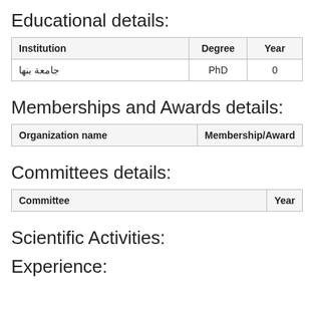Educational details:
| Institution | Degree | Year |
| --- | --- | --- |
| جامعة بنها | PhD | 0 |
Memberships and Awards details:
| Organization name | Membership/Award |
| --- | --- |
Committees details:
| Committee | Year |
| --- | --- |
Scientific Activities:
Experience: